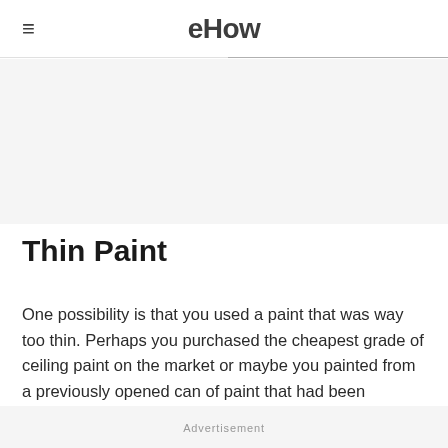eHow
Thin Paint
One possibility is that you used a paint that was way too thin. Perhaps you purchased the cheapest grade of ceiling paint on the market or maybe you painted from a previously opened can of paint that had been watered down, thus making the paint difficult to apply.
Advertisement